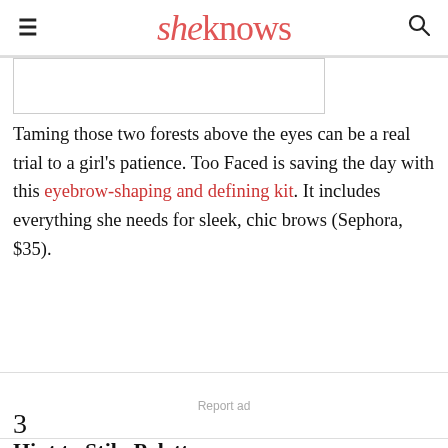sheknows
Taming those two forests above the eyes can be a real trial to a girl's patience. Too Faced is saving the day with this eyebrow-shaping and defining kit. It includes everything she needs for sleek, chic brows (Sephora, $35).
Report ad
3
Hint to Stila Palette